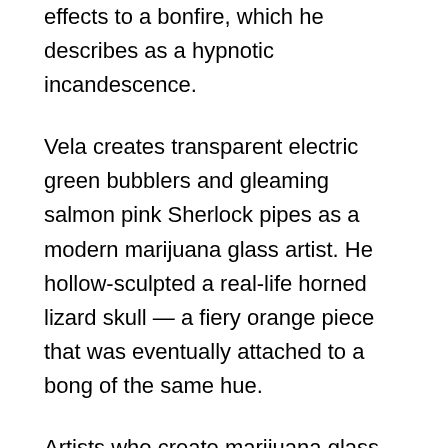effects to a bonfire, which he describes as a hypnotic incandescence.
Vela creates transparent electric green bubblers and gleaming salmon pink Sherlock pipes as a modern marijuana glass artist. He hollow-sculpted a real-life horned lizard skull — a fiery orange piece that was eventually attached to a bong of the same hue.
Artists who create marijuana glass, also known as “heady glass,” and other smoking gadgets are emerging from the shadows, gaining a slew of Instagram followers – the “yellow pages” of cannabis – and selling top-tier works for thousands